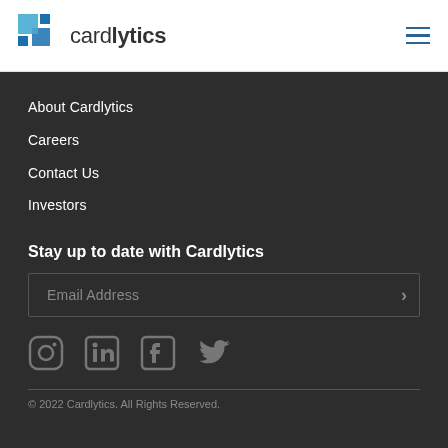[Figure (logo): Cardlytics logo with blue square icon and wordmark]
About Cardlytics
Careers
Contact Us
Investors
Stay up to date with Cardlytics
Email Address
[Figure (infographic): Social media icons: Instagram, LinkedIn, Facebook, Twitter]
© 2022 Cardlytics. All Rights Reserved.